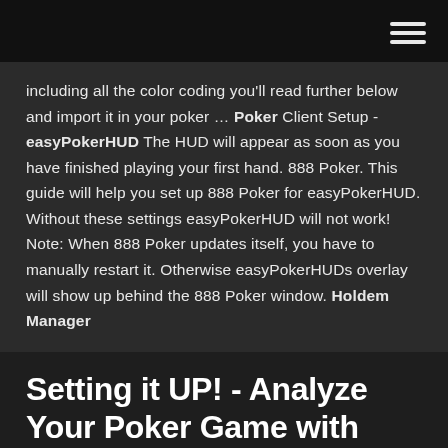including all the color coding you'll read further below and import it in your poker … Poker Client Setup - easyPokerHUD The HUD will appear as soon as you have finished playing your first hand. 888 Poker. This guide will help you set up 888 Poker for easyPokerHUD. Without these settings easyPokerHUD will not work! Note: When 888 Poker updates itself, you have to manually restart it. Otherwise easyPokerHUDs overlay will show up behind the 888 Poker window. Holdem Manager
Setting it UP! - Analyze Your Poker Game with Hold'em Manager 2